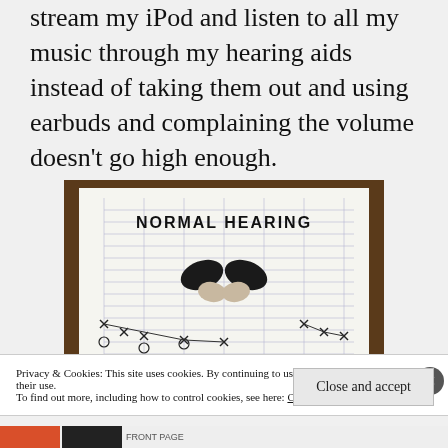stream my iPod and listen to all my music through my hearing aids instead of taking them out and using earbuds and complaining the volume doesn't go high enough.
[Figure (photo): A photo of hearing aids placed on top of an audiogram chart labeled 'NORMAL HEARING'. The chart has a grid with X marks in the lower portion indicating hearing loss data points.]
Privacy & Cookies: This site uses cookies. By continuing to use this website, you agree to their use.
To find out more, including how to control cookies, see here: Cookie Policy
Close and accept